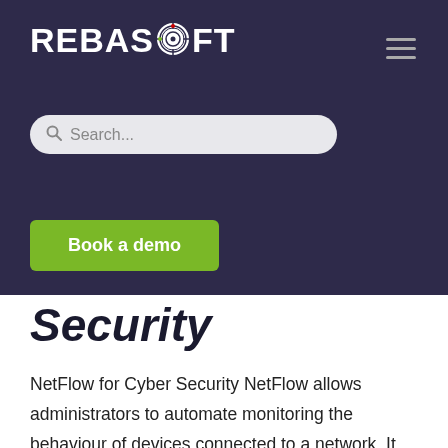[Figure (logo): Rebasoft logo with crosshair icon in the letter O, white text on dark purple background]
[Figure (other): Hamburger menu icon (three horizontal lines) in top right corner]
Search...
Book a demo
Security
NetFlow for Cyber Security NetFlow allows administrators to automate monitoring the behaviour of devices connected to a network. It allows insight into network abuse and anomalies that may represent a threat – such as the spread of malware infection,